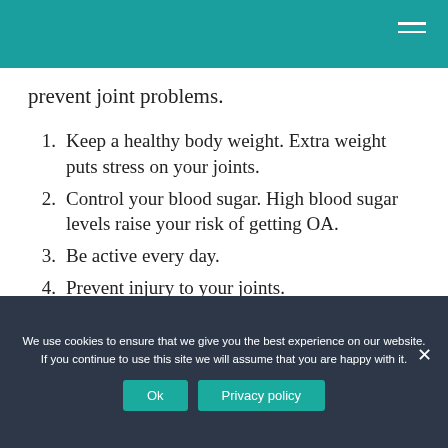prevent joint problems.
Keep a healthy body weight. Extra weight puts stress on your joints.
Control your blood sugar. High blood sugar levels raise your risk of getting OA.
Be active every day.
Prevent injury to your joints.
Pay attention to pain.
We use cookies to ensure that we give you the best experience on our website. If you continue to use this site we will assume that you are happy with it.